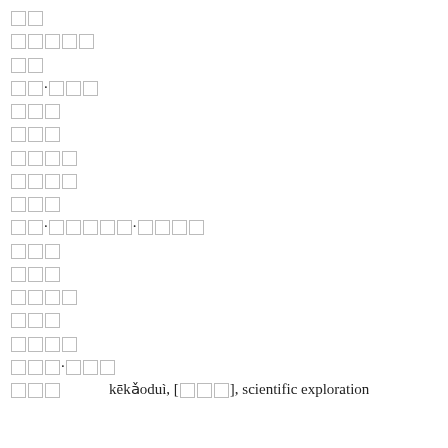□□
□□□□□
□□
□□·□□□
□□□
□□□
□□□□
□□□□
□□□
□□·□□□□□·□□□□
□□□
□□□
□□□□
□□□
□□□□
□□□·□□□
□□□        kēkǎoduì, [□□□], scientific exploration